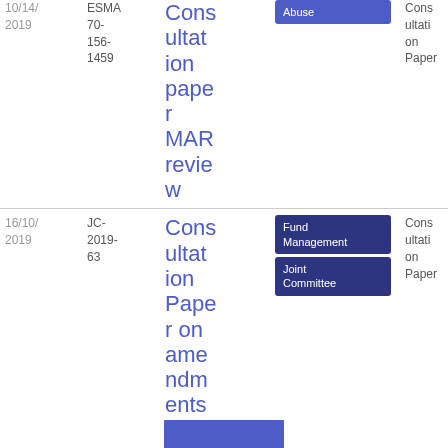| Date | Reference | Title | Tags | Type | File |
| --- | --- | --- | --- | --- | --- |
| 10/14/2019 | ESMA 70-156-1459 | Consultation paper MAR review | Abuse | Consultation Paper | PDF 10 17.98 KB |
| 16/10/2019 | JC-2019-63 | Consultation Paper on amendments to PRIIPs KID | Fund Management, Joint Committee | Consultation Paper | PDF 2.42 MB |